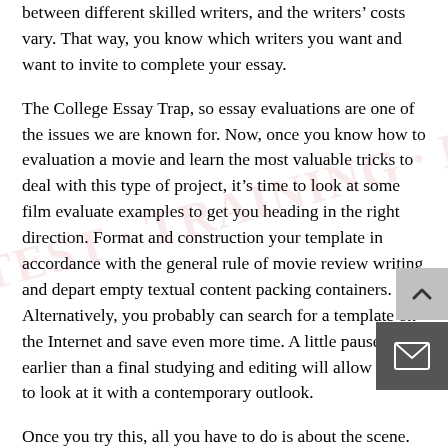between different skilled writers, and the writers’ costs vary. That way, you know which writers you want and want to invite to complete your essay.
The College Essay Trap, so essay evaluations are one of the issues we are known for. Now, once you know how to evaluation a movie and learn the most valuable tricks to deal with this type of project, it’s time to look at some film evaluate examples to get you heading in the right direction. Format and construction your template in accordance with the general rule of movie review writing and depart empty textual content packing containers. Alternatively, you probably can search for a template on the Internet and save even more time. A little pause earlier than a final studying and editing will allow you to to look at it with a contemporary outlook.
Once you try this, all you have to do is about the scene.